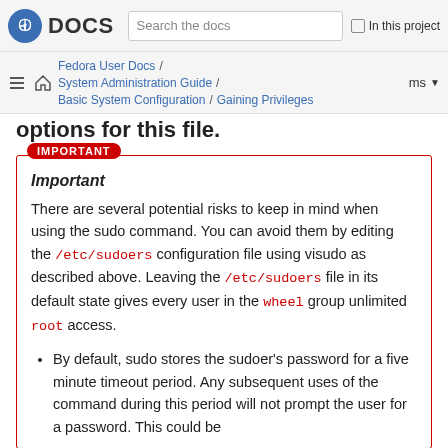Fedora DOCS | Search the docs | In this project
Fedora User Docs / System Administration Guide / Basic System Configuration / Gaining Privileges | ms
options for this file.
Important
There are several potential risks to keep in mind when using the sudo command. You can avoid them by editing the /etc/sudoers configuration file using visudo as described above. Leaving the /etc/sudoers file in its default state gives every user in the wheel group unlimited root access.
By default, sudo stores the sudoer's password for a five minute timeout period. Any subsequent uses of the command during this period will not prompt the user for a password. This could be